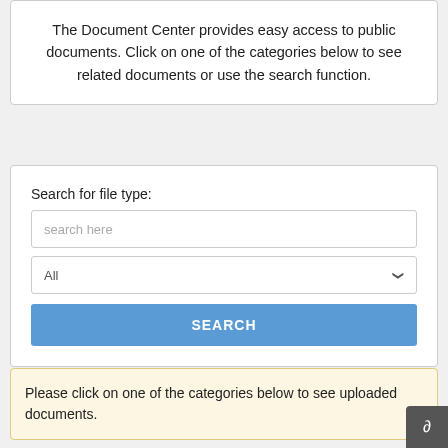The Document Center provides easy access to public documents. Click on one of the categories below to see related documents or use the search function.
Search for file type:
[Figure (screenshot): Search form with a text input labeled 'search here', a dropdown selector showing 'All', and a blue 'SEARCH' button]
Please click on one of the categories below to see uploaded documents.